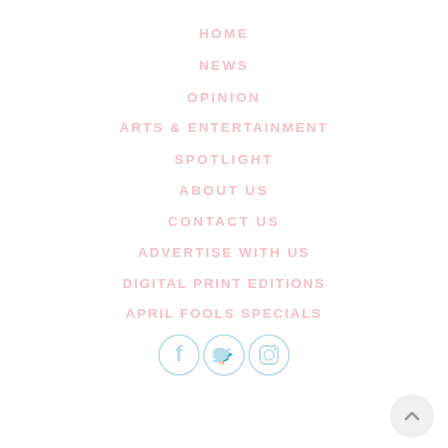HOME
NEWS
OPINION
ARTS & ENTERTAINMENT
SPOTLIGHT
ABOUT US
CONTACT US
ADVERTISE WITH US
DIGITAL PRINT EDITIONS
APRIL FOOLS SPECIALS
[Figure (infographic): Social media icons: Facebook, Twitter, Instagram in light blue, and a scroll-to-top button (chevron up) in bottom right]